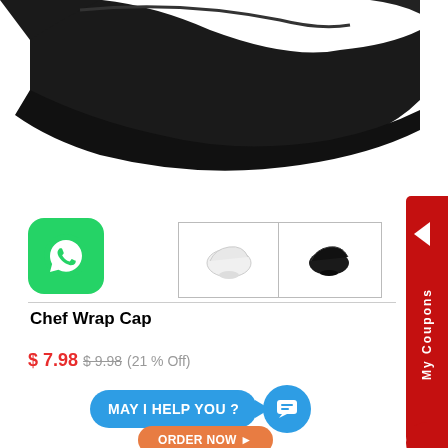[Figure (photo): Close-up photo of a black chef wrap cap / skull cap on white background, showing top portion]
[Figure (photo): Two thumbnail images of chef wrap caps: one white and one black, in a bordered selector grid]
Chef Wrap Cap
$ 7.98  $ 9.98 (21 % Off)
[Figure (logo): WhatsApp green icon with phone handset in speech bubble]
MAY I HELP YOU ?
ORDER NOW